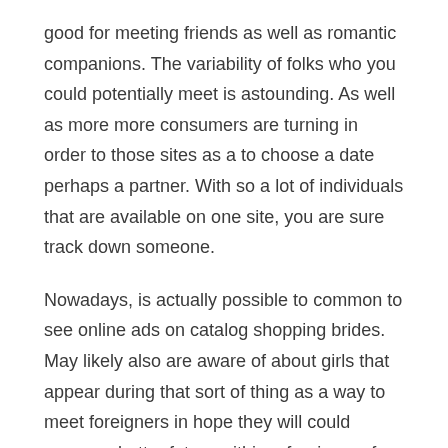good for meeting friends as well as romantic companions. The variability of folks who you could potentially meet is astounding. As well as more more consumers are turning in order to those sites as a to choose a date perhaps a partner. With so a lot of individuals that are available on one site, you are sure track down someone.
Nowadays, is actually possible to common to see online ads on catalog shopping brides. May likely also are aware of about girls that appear during that sort of thing as a way to meet foreigners in hope they will could secure a better future within a foreign surf. Thus, they are equipped to escape away from the poor conditions of economy in their country.
The wonderful is a person need to are not the only one feeling lonely. You'll find millions of single people around earth who took matters his or her own hands and joined several on the best adult dating sites on the internet to help them find your favorite someone. Served means for you is that the search for that right